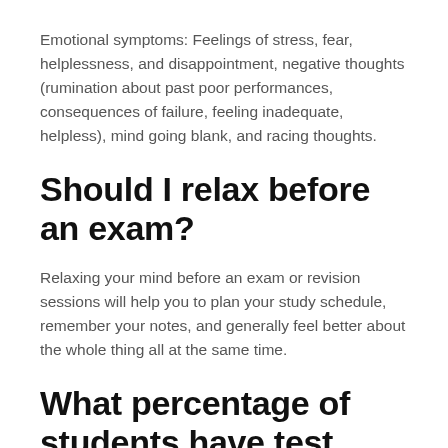Emotional symptoms: Feelings of stress, fear, helplessness, and disappointment, negative thoughts (rumination about past poor performances, consequences of failure, feeling inadequate, helpless), mind going blank, and racing thoughts.
Should I relax before an exam?
Relaxing your mind before an exam or revision sessions will help you to plan your study schedule, remember your notes, and generally feel better about the whole thing all at the same time.
What percentage of students have test anxiety?